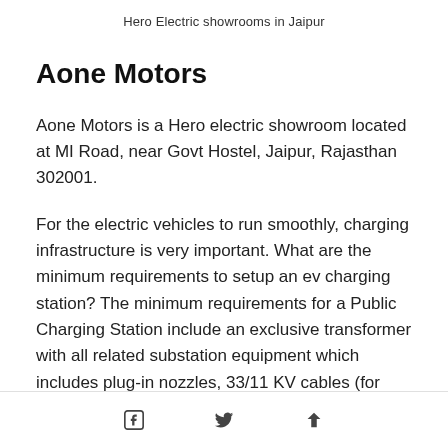Hero Electric showrooms in Jaipur
Aone Motors
Aone Motors is a Hero electric showroom located at MI Road, near Govt Hostel, Jaipur, Rajasthan 302001.
For the electric vehicles to run smoothly, charging infrastructure is very important. What are the minimum requirements to setup an ev charging station? The minimum requirements for a Public Charging Station include an exclusive transformer with all related substation equipment which includes plug-in nozzles, 33/11 KV cables (for
Facebook share | Twitter share | Share